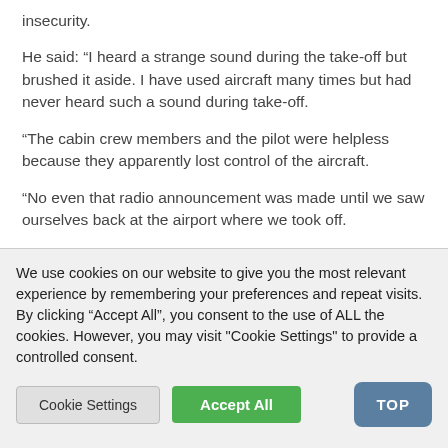insecurity.
He said: “I heard a strange sound during the take-off but brushed it aside. I have used aircraft many times but had never heard such a sound during take-off.
“The cabin crew members and the pilot were helpless because they apparently lost control of the aircraft.
“No even that radio announcement was made until we saw ourselves back at the airport where we took off.
“It was a near-death experience. I and many other passengers
We use cookies on our website to give you the most relevant experience by remembering your preferences and repeat visits. By clicking “Accept All”, you consent to the use of ALL the cookies. However, you may visit "Cookie Settings" to provide a controlled consent.